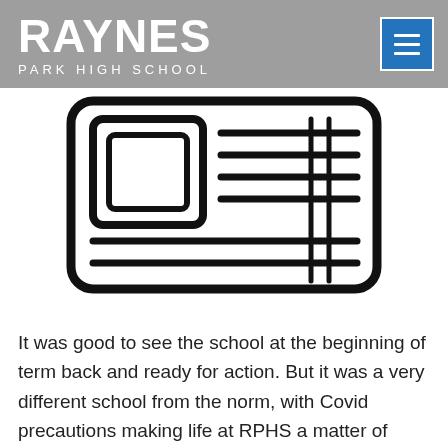RAYNES PARK HIGH SCHOOL
[Figure (illustration): Black and white line art icon of a newspaper/document with text lines and a rectangle representing an image placeholder, drawn in thick rounded outlines]
It was good to see the school at the beginning of term back and ready for action. But it was a very different school from the norm, with Covid precautions making life at RPHS a matter of one-way systems, bubbles and blended learning.